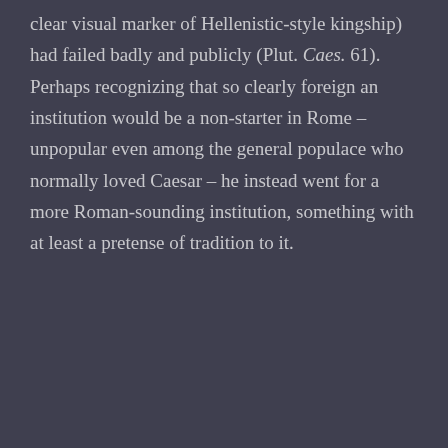clear visual marker of Hellenistic-style kingship) had failed badly and publicly (Plut. Caes. 61). Perhaps recognizing that so clearly foreign an institution would be a non-starter in Rome – unpopular even among the general populace who normally loved Caesar – he instead went for a more Roman-sounding institution, something with at least a pretense of tradition to it.